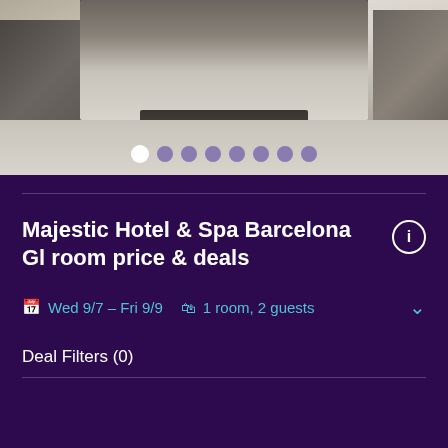[Figure (photo): Hotel room interior showing a large bed with dark headboard, bench at foot of bed, seating area on left, desk/chair on right, carpeted floor]
Majestic Hotel & Spa Barcelona Gl room price & deals
Wed 9/7 – Fri 9/9   1 room, 2 guests
Deal Filters (0)